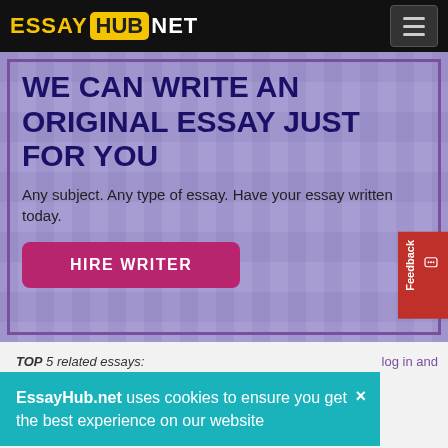ESSAY HUB NET
WE CAN WRITE AN ORIGINAL ESSAY JUST FOR YOU
Any subject. Any type of essay. Have your essay written today.
HIRE WRITER
TOP 5 related essays:
EssayHub.net uses cookies to ensure you get the best experience on our website
log in and
Transforming the world by inventing language games